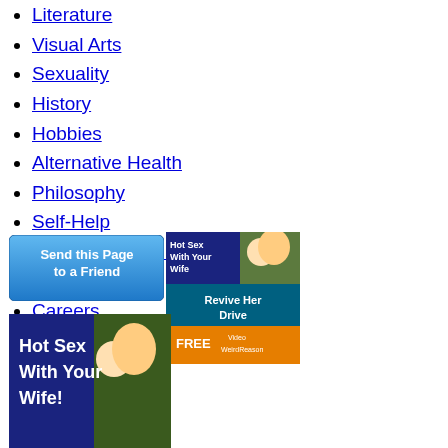Literature
Visual Arts
Sexuality
History
Hobbies
Alternative Health
Philosophy
Self-Help
Management & Marketing
Tech News
Careers
[Figure (other): Ad banner: Hot Sex With Your Wife / Revive Her Drive / FREE Video Weird Reason]
[Figure (other): Button: Send this Page to a Friend]
[Figure (other): Partial ad banner bottom: Hot Sex With Your Wife]